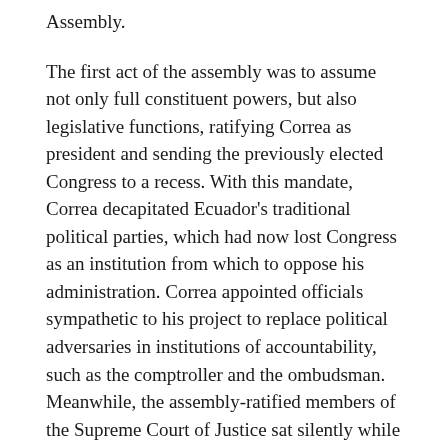Assembly.
The first act of the assembly was to assume not only full constituent powers, but also legislative functions, ratifying Correa as president and sending the previously elected Congress to a recess. With this mandate, Correa decapitated Ecuador's traditional political parties, which had now lost Congress as an institution from which to oppose his administration. Correa appointed officials sympathetic to his project to replace political adversaries in institutions of accountability, such as the comptroller and the ombudsman. Meanwhile, the assembly-ratified members of the Supreme Court of Justice sat silently while Correa dismantled the liberal framework of democracy.
The process of writing the new constitution was supposed to be participatory. The Constituent Assembly organized 10 roundtables, met 1,500 civil society delegations and processed more than 1,000 proposals for constitutional changes from civil society, political parties and individual